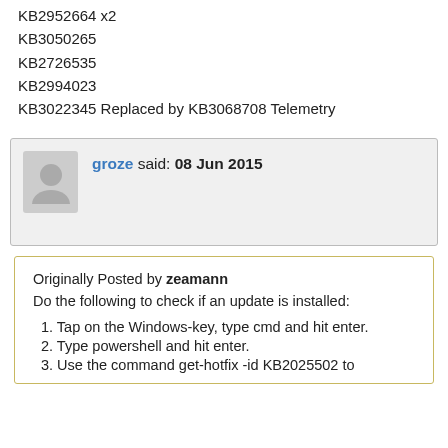KB2952664 x2
KB3050265
KB2726535
KB2994023
KB3022345 Replaced by KB3068708 Telemetry
groze said: 08 Jun 2015
Originally Posted by zeamann
Do the following to check if an update is installed:
1. Tap on the Windows-key, type cmd and hit enter.
2. Type powershell and hit enter.
3. Use the command get-hotfix -id KB2025502 to...